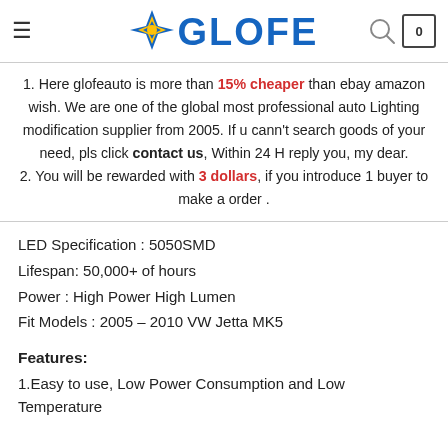GLOFE
1. Here glofeauto is more than 15% cheaper than ebay amazon wish. We are one of the global most professional auto Lighting modification supplier from 2005. If u cann't search goods of your need, pls click contact us, Within 24 H reply you, my dear.
2. You will be rewarded with 3 dollars, if you introduce 1 buyer to make a order .
LED Specification : 5050SMD
Lifespan: 50,000+ of hours
Power : High Power High Lumen
Fit Models : 2005 – 2010 VW Jetta MK5
Features:
1.Easy to use, Low Power Consumption and Low Temperature